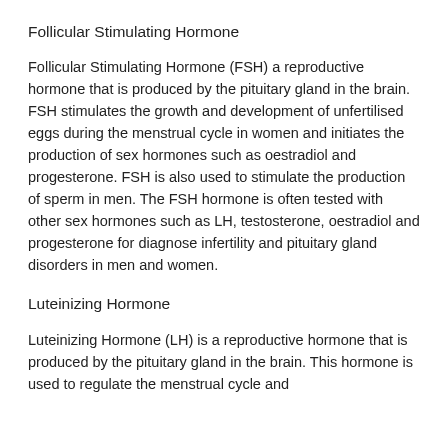Follicular Stimulating Hormone
Follicular Stimulating Hormone (FSH) a reproductive hormone that is produced by the pituitary gland in the brain. FSH stimulates the growth and development of unfertilised eggs during the menstrual cycle in women and initiates the production of sex hormones such as oestradiol and progesterone. FSH is also used to stimulate the production of sperm in men. The FSH hormone is often tested with other sex hormones such as LH, testosterone, oestradiol and progesterone for diagnose infertility and pituitary gland disorders in men and women.
Luteinizing Hormone
Luteinizing Hormone (LH) is a reproductive hormone that is produced by the pituitary gland in the brain. This hormone is used to regulate the menstrual cycle and